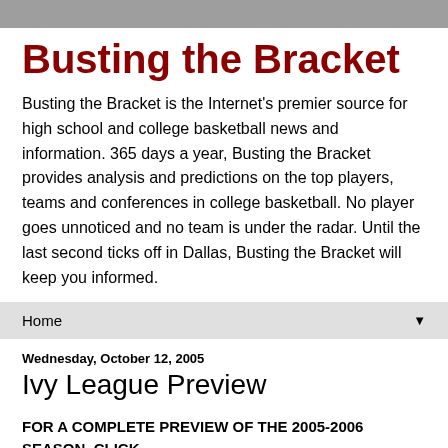Busting the Bracket
Busting the Bracket is the Internet's premier source for high school and college basketball news and information. 365 days a year, Busting the Bracket provides analysis and predictions on the top players, teams and conferences in college basketball. No player goes unnoticed and no team is under the radar. Until the last second ticks off in Dallas, Busting the Bracket will keep you informed.
Home
Wednesday, October 12, 2005
Ivy League Preview
FOR A COMPLETE PREVIEW OF THE 2005-2006 SEASON, CLICK HERE